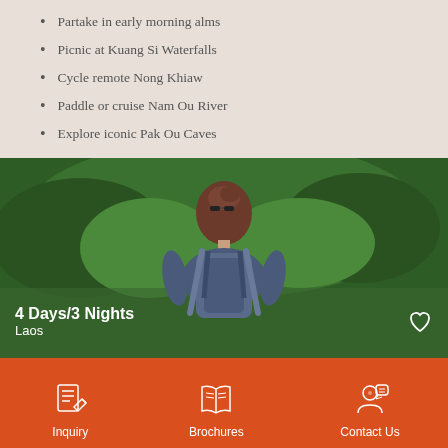Partake in early morning alms
Picnic at Kuang Si Waterfalls
Cycle remote Nong Khiaw
Paddle or cruise Nam Ou River
Explore iconic Pak Ou Caves
[Figure (photo): Woman with backpack viewed from behind, surrounded by lush green jungle foliage. Text overlay reads '4 Days/3 Nights' and 'Laos' with a heart icon in the bottom right.]
Inquiry  Brochures  Contact Us